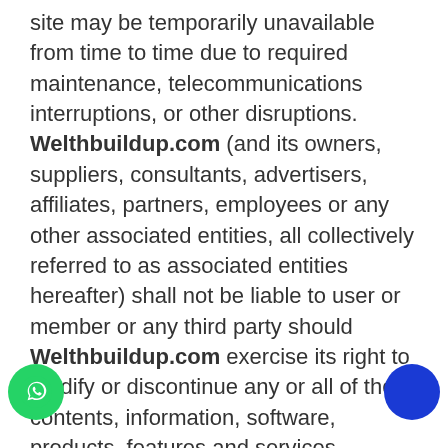site may be temporarily unavailable from time to time due to required maintenance, telecommunications interruptions, or other disruptions. Welthbuildup.com (and its owners, suppliers, consultants, advertisers, affiliates, partners, employees or any other associated entities, all collectively referred to as associated entities hereafter) shall not be liable to user or member or any third party should Welthbuildup.com exercise its right to modify or discontinue any or all of the contents, information, software, products, features and services published on this website. Welthbuildup.com and/or its respective associated entities make no representations about the suitability of the contents, information, software, products, features and services contained on this web site for any purpose